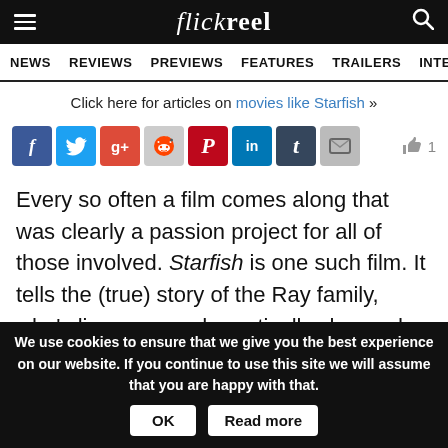flickreel — NEWS REVIEWS PREVIEWS FEATURES TRAILERS INTERVIEWS
Click here for articles on movies like Starfish »
[Figure (other): Social sharing icons row: Facebook, Twitter, Google+, Reddit, Pinterest, LinkedIn, Tumblr, Email, and a thumbs-up like button with count 1]
Every so often a film comes along that was clearly a passion project for all of those involved. Starfish is one such film. It tells the (true) story of the Ray family, who's lives are so dramatically changed – seemingly almost in an instant – when father of the family, Tom, contracts septicaemia and has to have
We use cookies to ensure that we give you the best experience on our website. If you continue to use this site we will assume that you are happy with that.